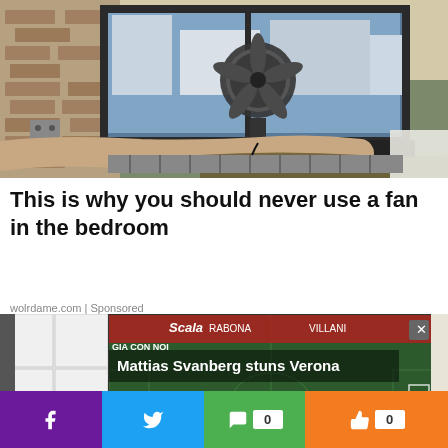[Figure (photo): Bedroom scene with a window fan on a windowsill, brick wall, a person lying on a bed with legs visible, sunlight coming through window]
This is why you should never use a fan in the bedroom
wolrdame.com | Sponsored
[Figure (screenshot): Video player overlay showing a soccer/football match with title 'Mattias Svanberg stuns Verona', with play button, red advertising banners (Scala, Rabona, Villani, DUBET), close button (x)]
[Figure (photo): Partial view of bathroom tiles on the left side]
[Figure (photo): Partial view on the right side]
Social sharing bar with Facebook, Twitter, comment (0), and like (0) buttons